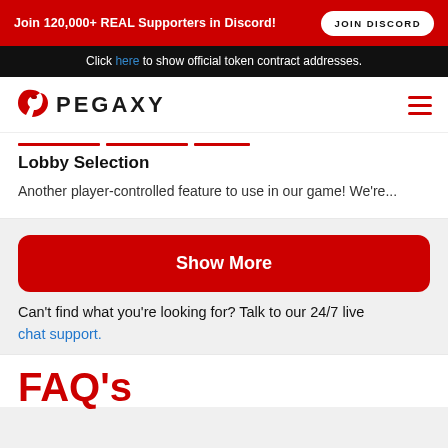Join 120,000+ REAL Supporters in Discord! JOIN DISCORD
Click here to show official token contract addresses.
[Figure (logo): Pegaxy logo with stylized P and text PEGAXY]
Lobby Selection
Another player-controlled feature to use in our game! We're...
Show More
Can't find what you're looking for? Talk to our 24/7 live chat support.
FAQ's